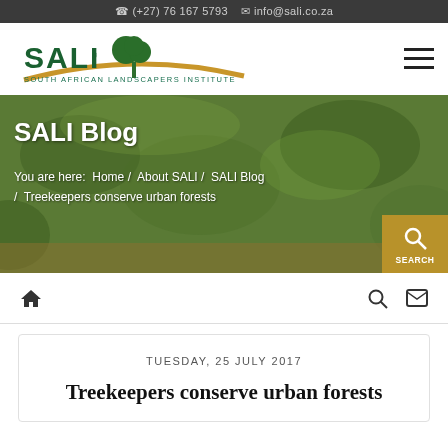(+27) 76 167 5793  info@sali.co.za
[Figure (logo): SALI - South African Landscapers Institute logo with green trees and golden arc]
[Figure (photo): Green foliage/grass background for SALI Blog hero banner]
SALI Blog
You are here:  Home /  About SALI /  SALI Blog /  Treekeepers conserve urban forests
SEARCH
TUESDAY, 25 JULY 2017
Treekeepers conserve urban forests